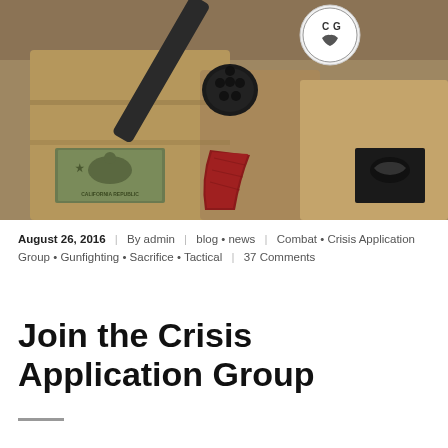[Figure (photo): A revolver with red wooden grip resting on tan/coyote tactical gear bags with a California Republic bear flag patch visible, and a circular CAG logo patch.]
August 26, 2016 | By admin | blog • news | Combat • Crisis Application Group • Gunfighting • Sacrifice • Tactical | 37 Comments
Join the Crisis Application Group